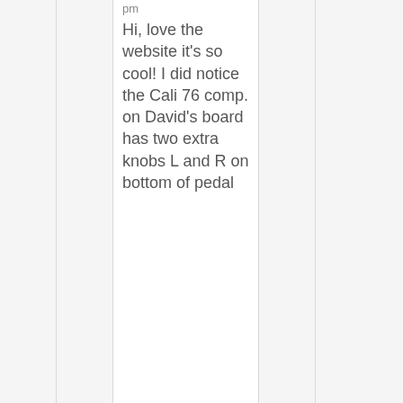pm
Hi, love the website it's so cool! I did notice the Cali 76 comp. on David's board has two extra knobs L and R on bottom of pedal